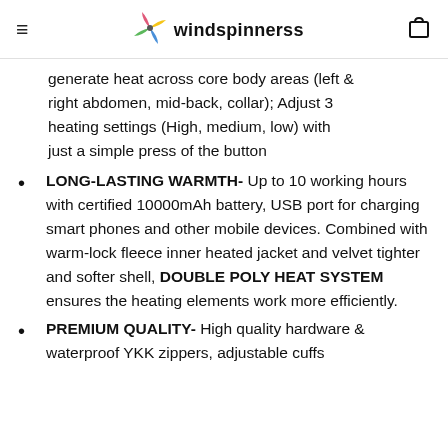windspinnerss
generate heat across core body areas (left & right abdomen, mid-back, collar); Adjust 3 heating settings (High, medium, low) with just a simple press of the button
LONG-LASTING WARMTH- Up to 10 working hours with certified 10000mAh battery, USB port for charging smart phones and other mobile devices. Combined with warm-lock fleece inner heated jacket and velvet tighter and softer shell, DOUBLE POLY HEAT SYSTEM ensures the heating elements work more efficiently.
PREMIUM QUALITY- High quality hardware & waterproof YKK zippers, adjustable cuffs